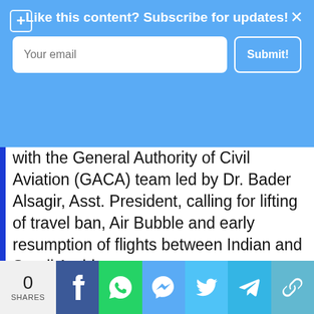[Figure (screenshot): Blue subscription banner with 'Like this content? Subscribe for updates!' heading, email input field, and Submit button]
with the General Authority of Civil Aviation (GACA) team led by Dr. Bader Alsagir, Asst. President, calling for lifting of travel ban, Air Bubble and early resumption of flights between Indian and Saudi Arabia.
[Figure (infographic): Social share bar with 0 SHARES count, Facebook, WhatsApp, Messenger, Twitter, Telegram, and copy link buttons]